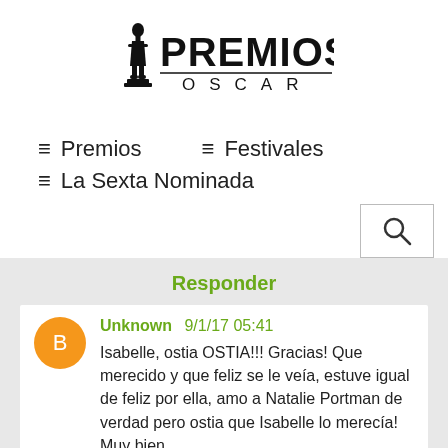[Figure (logo): Premios Oscar logo with Oscar statuette silhouette and text PREMIOS OSCAR]
≡ Premios
≡ Festivales
≡ La Sexta Nominada
[Figure (screenshot): Search button with magnifying glass icon]
Responder
Unknown 9/1/17 05:41
Isabelle, ostia OSTIA!!! Gracias! Que merecido y que feliz se le veía, estuve igual de feliz por ella, amo a Natalie Portman de verdad pero ostia que Isabelle lo merecía! Muy bien